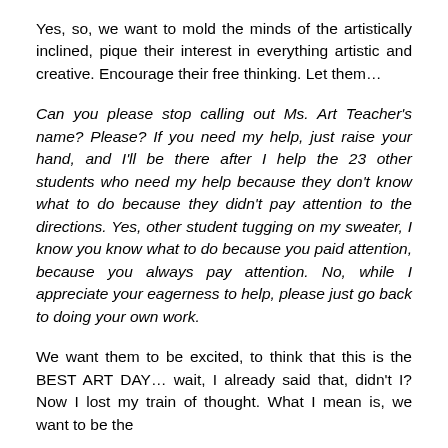Yes, so, we want to mold the minds of the artistically inclined, pique their interest in everything artistic and creative. Encourage their free thinking. Let them…
Can you please stop calling out Ms. Art Teacher's name? Please? If you need my help, just raise your hand, and I'll be there after I help the 23 other students who need my help because they don't know what to do because they didn't pay attention to the directions. Yes, other student tugging on my sweater, I know you know what to do because you paid attention, because you always pay attention. No, while I appreciate your eagerness to help, please just go back to doing your own work.
We want them to be excited, to think that this is the BEST ART DAY… wait, I already said that, didn't I? Now I lost my train of thought. What I mean is, we want to be the